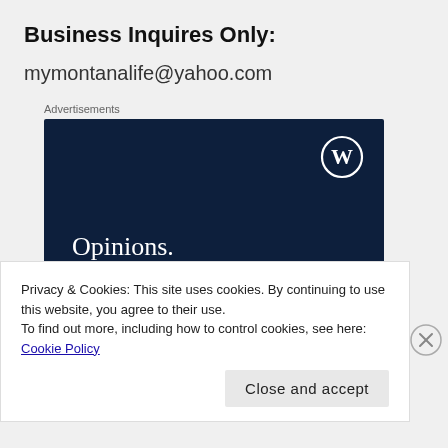Business Inquires Only:
mymontanalife@yahoo.com
Advertisements
[Figure (illustration): Dark navy advertisement banner with WordPress logo in top right. Text reads 'Opinions. We all have them!' in white serif font on dark navy background.]
Privacy & Cookies: This site uses cookies. By continuing to use this website, you agree to their use.
To find out more, including how to control cookies, see here: Cookie Policy
Close and accept